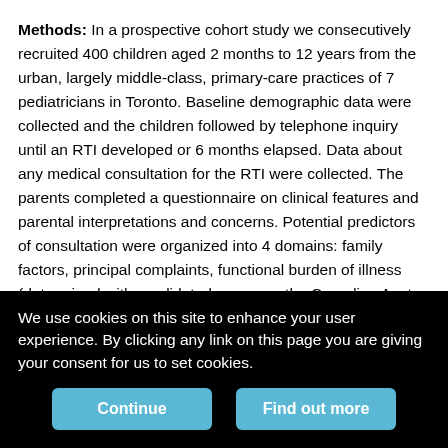Methods: In a prospective cohort study we consecutively recruited 400 children aged 2 months to 12 years from the urban, largely middle-class, primary-care practices of 7 pediatricians in Toronto. Baseline demographic data were collected and the children followed by telephone inquiry until an RTI developed or 6 months elapsed. Data about any medical consultation for the RTI were collected. The parents completed a questionnaire on clinical features and parental interpretations and concerns. Potential predictors of consultation were organized into 4 domains: family factors, principal complaints, functional burden of illness (determined with a validated measure, the Canadian Acute Respiratory Illness and Flu Scale [CARIFS]) and parental interpretation of the illness. Key variables for each domain were derived by endorsement, correlation and combination, and
We use cookies on this site to enhance your user experience. By clicking any link on this page you are giving your consent for us to set cookies.